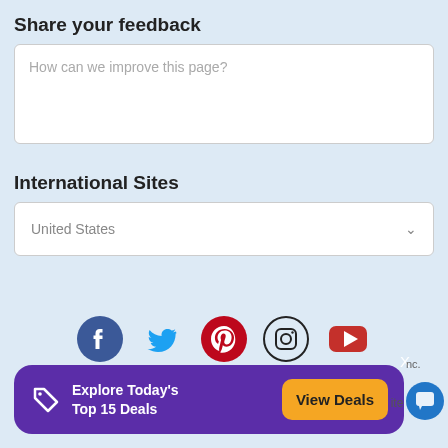Share your feedback
How can we improve this page?
International Sites
United States
[Figure (infographic): Social media icons: Facebook, Twitter, Pinterest, Instagram, YouTube]
[Figure (infographic): Purple banner with tag icon, text 'Explore Today's Top 15 Deals', orange 'View Deals' button, and X close button]
Site Map